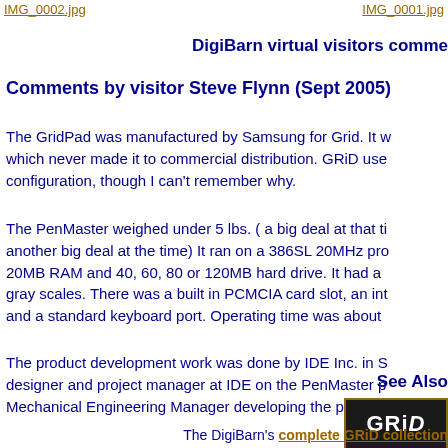IMG_0002.jpg    IMG_0001.jpg
DigiBarn virtual visitors comme
Comments by visitor Steve Flynn (Sept 2005)
The GridPad was manufactured by Samsung for Grid. It w which never made it to commercial distribution. GRiD use configuration, though I can't remember why.
The PenMaster weighed under 5 lbs. ( a big deal at that ti another big deal at the time) It ran on a 386SL 20MHz pro 20MB RAM and 40, 60, 80 or 120MB hard drive. It had a gray scales. There was a built in PCMCIA card slot, an int and a standard keyboard port. Operating time was about
The product development work was done by IDE Inc. in S designer and project manager at IDE on the PenMaster p Mechanical Engineering Manager developing the pen-bas
See Also
[Figure (logo): GRiD logo in white text on dark background with brown border]
The DigiBarn's complete GRiD collection